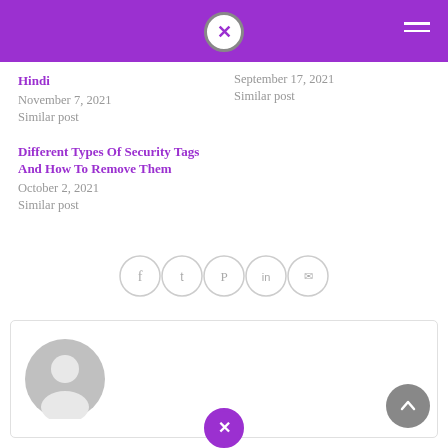Hindi
November 7, 2021
Similar post
September 17, 2021
Similar post
Different Types Of Security Tags And How To Remove Them
October 2, 2021
Similar post
[Figure (infographic): Social share buttons row: Facebook, Twitter, Pinterest, LinkedIn, Email icons in circles]
[Figure (photo): Author avatar placeholder - grey circle with person silhouette]
[Figure (other): Back to top button - grey circle with upward arrow]